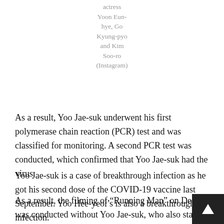actress Yoon Eun-hye, Go Kyung-pyo and Kim Soo-ro (Instagram)
As a result, Yoo Jae-suk underwent his first polymerase chain reaction (PCR) test and was classified for monitoring. A second PCR test was conducted, which confirmed that Yoo Jae-suk had the virus.
Yoo Jae-suk is a case of breakthrough infection as he got his second dose of the COVID-19 vaccine last September. Yoo Hee-yeol’s is also a breakthrough infection.
As a result, the filming of “Running Man” on Dec. 17 was conducted without Yoo Jae-suk, who also stars